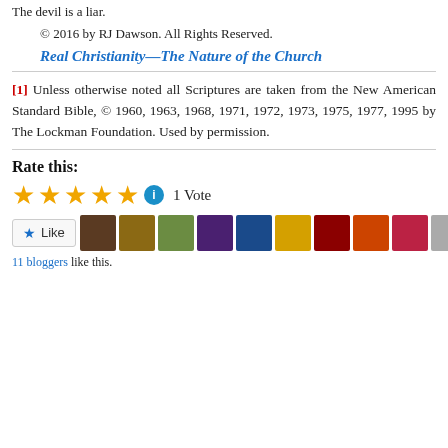The devil is a liar.
© 2016 by RJ Dawson. All Rights Reserved.
Real Christianity—The Nature of the Church
[1] Unless otherwise noted all Scriptures are taken from the New American Standard Bible, © 1960, 1963, 1968, 1971, 1972, 1973, 1975, 1977, 1995 by The Lockman Foundation. Used by permission.
Rate this:
1 Vote
11 bloggers like this.